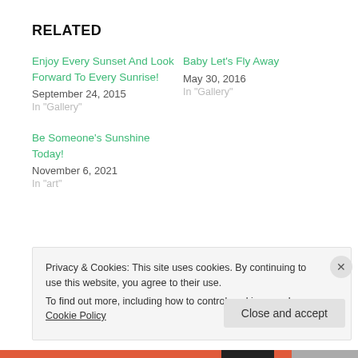RELATED
Enjoy Every Sunset And Look Forward To Every Sunrise!
September 24, 2015
In "Gallery"
Baby Let's Fly Away
May 30, 2016
In "Gallery"
Be Someone's Sunshine Today!
November 6, 2021
In "art"
Privacy & Cookies: This site uses cookies. By continuing to use this website, you agree to their use.
To find out more, including how to control cookies, see here: Cookie Policy